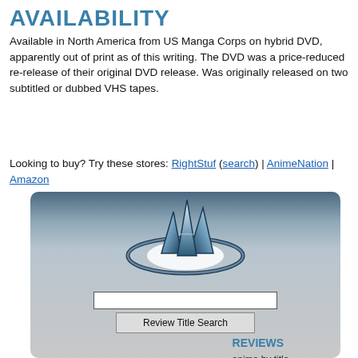AVAILABILITY
Available in North America from US Manga Corps on hybrid DVD, apparently out of print as of this writing. The DVD was a price-reduced re-release of their original DVD release. Was originally released on two subtitled or dubbed VHS tapes.
Looking to buy? Try these stores: RightStuf (search) | AnimeNation | Amazon
[Figure (screenshot): AnimeNation website widget with logo (stylized 'AN' letters with orbital ring), a search text box, a 'Review Title Search' button, a 'REVIEWS' section header, and links: anime by title, anime by star rating, anime by content, more]